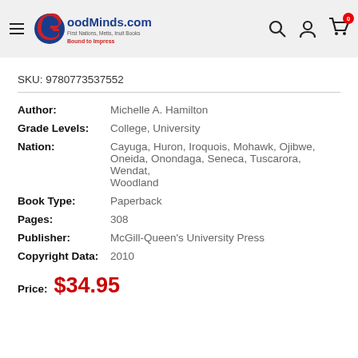[Figure (logo): GoodMinds.com logo with navigation bar including hamburger menu, search icon, user icon, and cart icon showing 0 items]
SKU: 9780773537552
| Author: | Michelle A. Hamilton |
| Grade Levels: | College, University |
| Nation: | Cayuga, Huron, Iroquois, Mohawk, Ojibwe, Oneida, Onondaga, Seneca, Tuscarora, Wendat, Woodland |
| Book Type: | Paperback |
| Pages: | 308 |
| Publisher: | McGill-Queen's University Press |
| Copyright Data: | 2010 |
Price:  $34.95